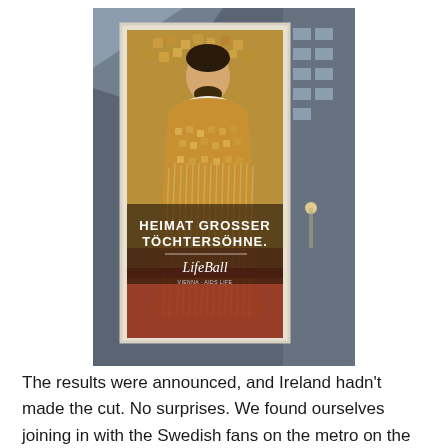[Figure (photo): A framed poster displayed in a shop window, showing a figure in an ornate Klimt-inspired golden costume with a beard, with text reading 'HEIMAT GROSSER TÖCHTERSÖHNE.' and the Life Ball logo. The poster is photographed through a glass window with reflections of buildings visible.]
The results were announced, and Ireland hadn't made the cut. No surprises. We found ourselves joining in with the Swedish fans on the metro on the way home.